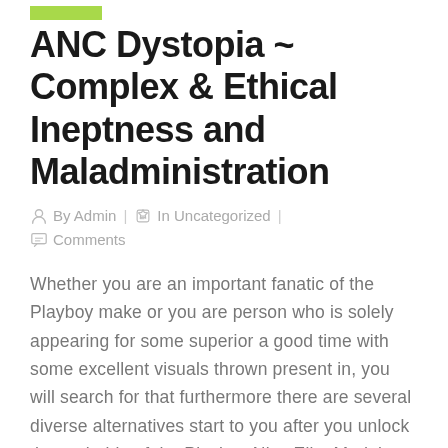ANC Dystopia ~ Complex & Ethical Ineptness and Maladministration
By Admin | In Uncategorized | Comments
Whether you are an important fanatic of the Playboy make or you are person who is solely appearing for some superior a good time with some excellent visuals thrown present in, you will search for that furthermore there are several diverse alternatives start to you after you unlock the probable of the Playboy Nice Elite Model Talent End Machine. You shall need an internet browser like Chrome, Edge, Safari, etc and an internet connection, either via Wi fi or the mobile